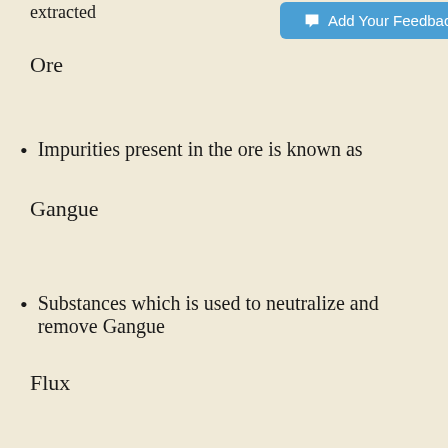extracted
[Figure (other): Blue 'Add Your Feedback' button with speech bubble icon]
Ore
Impurities present in the ore is known as
Gangue
Substances which is used to neutralize and remove Gangue
Flux